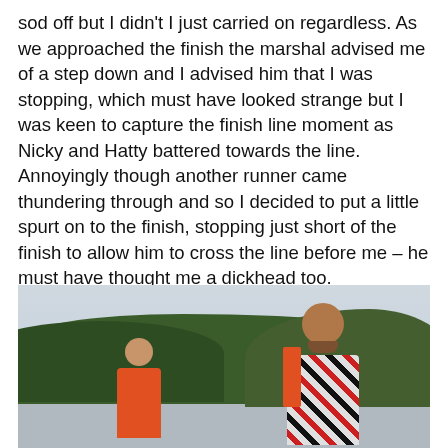sod off but I didn't I just carried on regardless. As we approached the finish the marshal advised me of a step down and I advised him that I was stopping, which must have looked strange but I was keen to capture the finish line moment as Nicky and Hatty battered towards the line. Annoyingly though another runner came thundering through and so I decided to put a little spurt on to the finish, stopping just short of the finish to allow him to cross the line before me – he must have thought me a dickhead too.
[Figure (photo): Two runners outdoors, surrounded by green trees and an overcast sky. The person on the left is smaller, wearing an orange shirt, with a shaved head. The person on the right is larger, wearing a patterned black and white shirt with a red vest, and has a beard.]